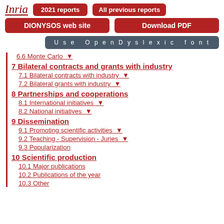[Figure (logo): Inria logo in cursive red text]
2021 reports
All previous reports
DIONYSOS web site
Download PDF
Use OpenDyslexic font
6.6 Monte Carlo ▼
7 Bilateral contracts and grants with industry
7.1 Bilateral contracts with industry ▼
7.2 Bilateral grants with industry ▼
8 Partnerships and cooperations
8.1 International initiatives ▼
8.2 National initiatives ▼
9 Dissemination
9.1 Promoting scientific activities ▼
9.2 Teaching - Supervision - Juries ▼
9.3 Popularization
10 Scientific production
10.1 Major publications
10.2 Publications of the year
10.3 Other